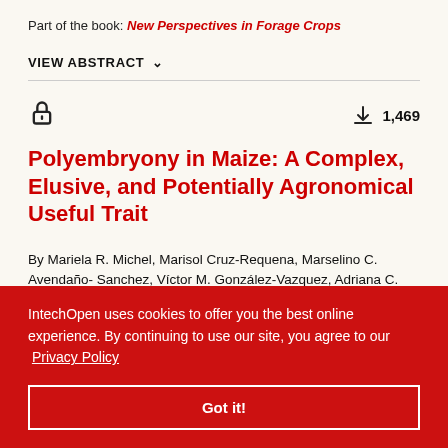Part of the book: New Perspectives in Forage Crops
VIEW ABSTRACT
Polyembryony in Maize: A Complex, Elusive, and Potentially Agronomical Useful Trait
By Mariela R. Michel, Marisol Cruz-Requena, Marselino C. Avendaño- Sanchez, Víctor M. González-Vazquez, Adriana C. Flores-Gallegos, Cristóbal N. Aguilar, José Espinoza-Velázquez and Raúl Rodríguez-Herrera
IntechOpen uses cookies to offer you the best online experience. By continuing to use our site, you agree to our Privacy Policy